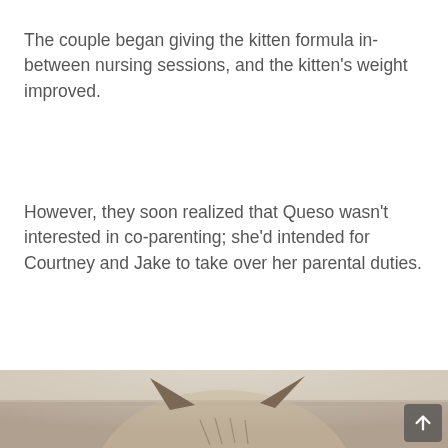The couple began giving the kitten formula in-between nursing sessions, and the kitten's weight improved.
However, they soon realized that Queso wasn't interested in co-parenting; she'd intended for Courtney and Jake to take over her parental duties.
[Figure (photo): Close-up photo of a small tabby kitten, viewed from above and behind, showing the top of its head and ears. The background appears to be a light-colored surface or wall.]